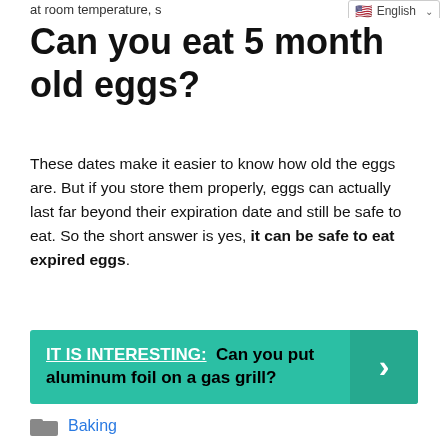at room temperature, s...
Can you eat 5 month old eggs?
These dates make it easier to know how old the eggs are. But if you store them properly, eggs can actually last far beyond their expiration date and still be safe to eat. So the short answer is yes, it can be safe to eat expired eggs.
IT IS INTERESTING: Can you put aluminum foil on a gas grill?
Baking